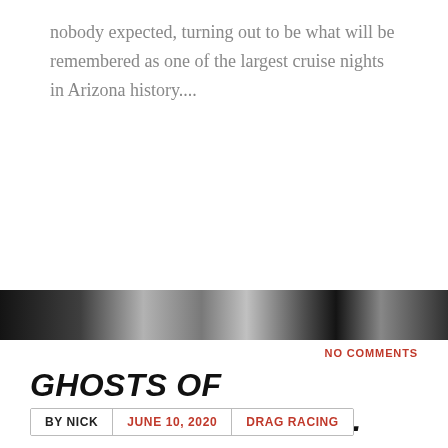nobody expected, turning out to be what will be remembered as one of the largest cruise nights in Arizona history....
[Figure (photo): Black and white strip image, appears to be a vintage drag racing or car-related photograph]
NO COMMENTS
GHOSTS OF DRAGSTRIPS PAST...
BY NICK | JUNE 10, 2020 | DRAG RACING